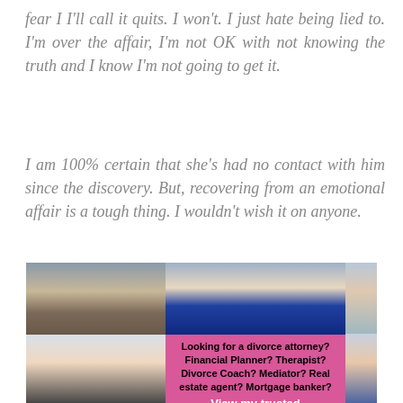fear I I'll call it quits. I won't. I just hate being lied to. I'm over the affair, I'm not OK with not knowing the truth and I know I'm not going to get it.
I am 100% certain that she's had no contact with him since the discovery. But, recovering from an emotional affair is a tough thing. I wouldn't wish it on anyone.
[Figure (infographic): Advertisement collage showing multiple professional headshots surrounding a pink box with text: 'Looking for a divorce attorney? Financial Planner? Therapist? Divorce Coach? Mediator? Real estate agent? Mortgage banker? View my trusted']